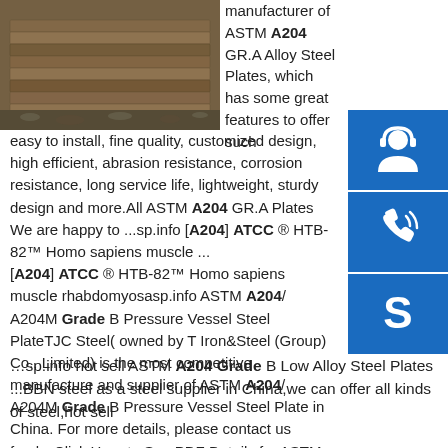[Figure (photo): Stacked steel plates/sheets photographed outdoors on gravel ground, showing rust-colored metal plates piled on top of each other]
manufacturer of ASTM A204 GR.A Alloy Steel Plates, which has some great features to offer such
[Figure (infographic): Blue square icon with white customer support/headset person silhouette]
[Figure (infographic): Blue square icon with white telephone/phone with signal waves]
[Figure (infographic): Blue square icon with white Skype logo S]
easy to install, fine quality, customized design, high efficient, abrasion resistance, corrosion resistance, long service life, lightweight, sturdy design and more.All ASTM A204 GR.A Plates We are happy to ...sp.info [A204] ATCC ® HTB-82™ Homo sapiens muscle ...[A204] ATCC ® HTB-82™ Homo sapiens muscle rhabdomyosasp.info ASTM A204/ A204M Grade B Pressure Vessel Steel PlateTJC Steel( owned by T Iron&Steel (Group) Co., Limited) is the most competitive manufacture and supplier of ASTM A204/ A204M Grade B Pressure Vessel Steel Plate in China. For more details, please contact us freely. Click Here to See PDF Details for ASTM A204/ A204M Grade …sp.info hot sell ASTM A204 Grade B Low Alloy Steel Plates ...BBN steel as a steel supplier in China,we can offer all kinds of steel,hot sell